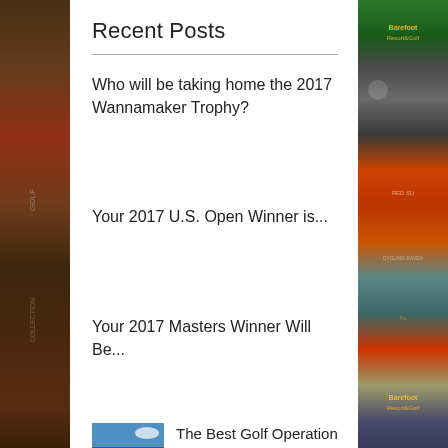Recent Posts
Who will be taking home the 2017 Wannamaker Trophy?
Your 2017 U.S. Open Winner is...
Your 2017 Masters Winner Will Be...
The Best Golf Operation in America